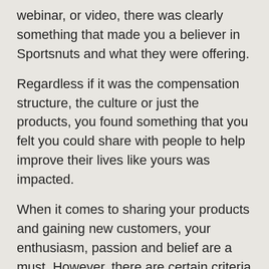webinar, or video, there was clearly something that made you a believer in Sportsnuts and what they were offering.
Regardless if it was the compensation structure, the culture or just the products, you found something that you felt you could share with people to help improve their lives like yours was impacted.
When it comes to sharing your products and gaining new customers, your enthusiasm, passion and belief are a must. However, there are certain criteria that you MUST consider before hurrying off to spread the word about Sportsnuts and their products with the world, which are:
A. What need does your product serve?
B. Who wants what you have to sell and is ready to purchase it today?